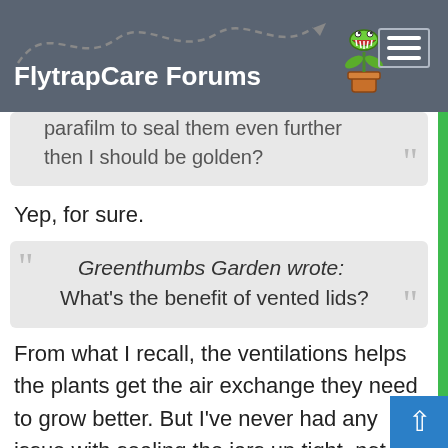FlytrapCare Forums
parafilm to seal them even further then I should be golden?
Yep, for sure.
Greenthumbs Garden wrote: What's the benefit of vented lids?
From what I recall, the ventilations helps the plants get the air exchange they need to grow better. But I've never had any issue with sealing the jars up tight, not venting them at all, and even putting them inside plastic baggies.